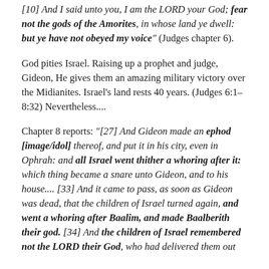[10] And I said unto you, I am the LORD your God; fear not the gods of the Amorites, in whose land ye dwell: but ye have not obeyed my voice" (Judges chapter 6).
God pities Israel. Raising up a prophet and judge, Gideon, He gives them an amazing military victory over the Midianites. Israel's land rests 40 years. (Judges 6:1–8:32) Nevertheless....
Chapter 8 reports: "[27] And Gideon made an ephod [image/idol] thereof, and put it in his city, even in Ophrah: and all Israel went thither a whoring after it: which thing became a snare unto Gideon, and to his house.... [33] And it came to pass, as soon as Gideon was dead, that the children of Israel turned again, and went a whoring after Baalim, and made Baalberith their god. [34] And the children of Israel remembered not the LORD their God, who had delivered them out